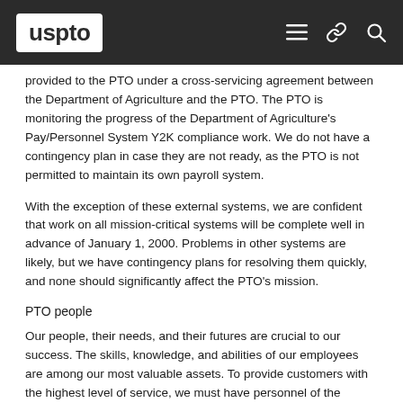uspto
provided to the PTO under a cross-servicing agreement between the Department of Agriculture and the PTO. The PTO is monitoring the progress of the Department of Agriculture's Pay/Personnel System Y2K compliance work. We do not have a contingency plan in case they are not ready, as the PTO is not permitted to maintain its own payroll system.
With the exception of these external systems, we are confident that work on all mission-critical systems will be complete well in advance of January 1, 2000. Problems in other systems are likely, but we have contingency plans for resolving them quickly, and none should significantly affect the PTO's mission.
PTO people
Our people, their needs, and their futures are crucial to our success. The skills, knowledge, and abilities of our employees are among our most valuable assets. To provide customers with the highest level of service, we must have personnel of the